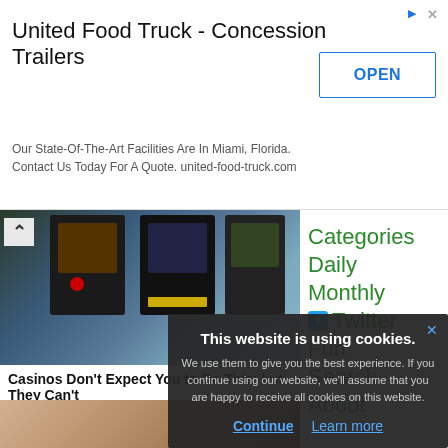[Figure (screenshot): Advertisement banner for United Food Truck - Concession Trailers with OPEN button]
United Food Truck - Concession Trailers
Our State-Of-The-Art Facilities Are In Miami, Florida. Contact Us Today For A Quote. united-food-truck.com
[Figure (photo): Photo of casino slot machines]
Casinos Don't Expect You to Do This; but They Can't
[Figure (photo): Close-up photo of skin/wrinkled texture]
Categories
Daily
Monthly
Twitter
Fun
Search
About
This website is using cookies.
We use them to give you the best experience. If you continue using our website, we'll assume that you are happy to receive all cookies on this website.
Continue   Learn more